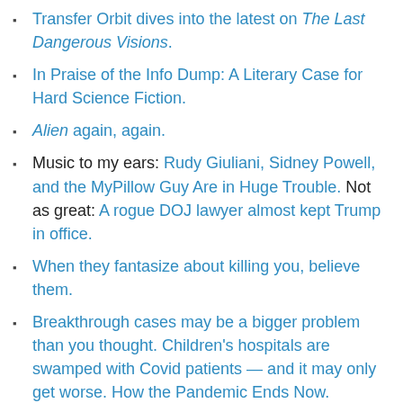Transfer Orbit dives into the latest on The Last Dangerous Visions.
In Praise of the Info Dump: A Literary Case for Hard Science Fiction.
Alien again, again.
Music to my ears: Rudy Giuliani, Sidney Powell, and the MyPillow Guy Are in Huge Trouble. Not as great: A rogue DOJ lawyer almost kept Trump in office.
When they fantasize about killing you, believe them.
Breakthrough cases may be a bigger problem than you thought. Children's hospitals are swamped with Covid patients — and it may only get worse. How the Pandemic Ends Now.
Census minute: Census Bureau releases population data, starting scramble to redraw congressional lines. We're Going The Wrong Way. Wisconsin grows